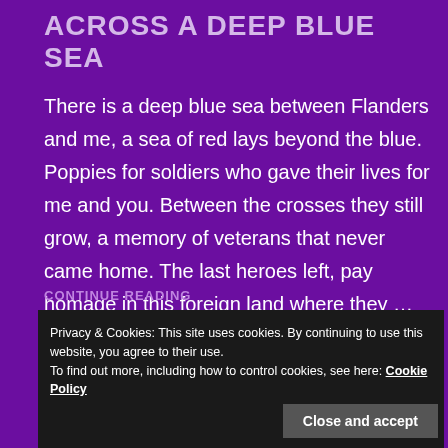ACROSS A DEEP BLUE SEA
There is a deep blue sea between Flanders and me, a sea of red lays beyond the blue. Poppies for soldiers who gave their lives for me and you. Between the crosses they still grow, a memory of veterans that never came home. The last heroes left, pay homage in this foreign land where they …
CONTINUE READING
Privacy & Cookies: This site uses cookies. By continuing to use this website, you agree to their use.
To find out more, including how to control cookies, see here: Cookie Policy
Close and accept